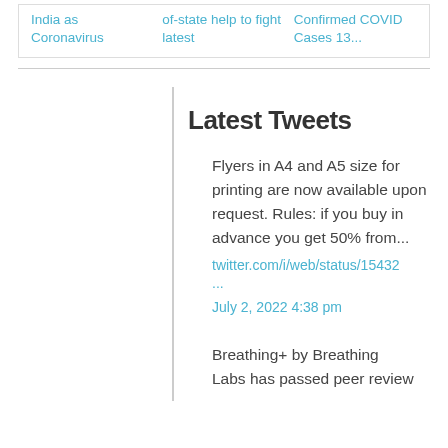India as Coronavirus
of-state help to fight latest
Confirmed COVID Cases 13...
Latest Tweets
Flyers in A4 and A5 size for printing are now available upon request. Rules: if you buy in advance you get 50% from...
twitter.com/i/web/status/15432
...
July 2, 2022 4:38 pm
Breathing+ by Breathing Labs has passed peer review